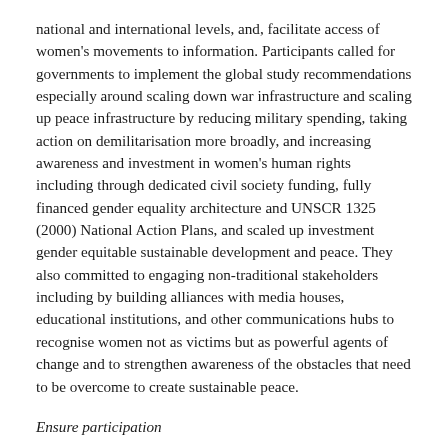national and international levels, and, facilitate access of women's movements to information. Participants called for governments to implement the global study recommendations especially around scaling down war infrastructure and scaling up peace infrastructure by reducing military spending, taking action on demilitarisation more broadly, and increasing awareness and investment in women's human rights including through dedicated civil society funding, fully financed gender equality architecture and UNSCR 1325 (2000) National Action Plans, and scaled up investment gender equitable sustainable development and peace. They also committed to engaging non-traditional stakeholders including by building alliances with media houses, educational institutions, and other communications hubs to recognise women not as victims but as powerful agents of change and to strengthen awareness of the obstacles that need to be overcome to create sustainable peace.
Ensure participation